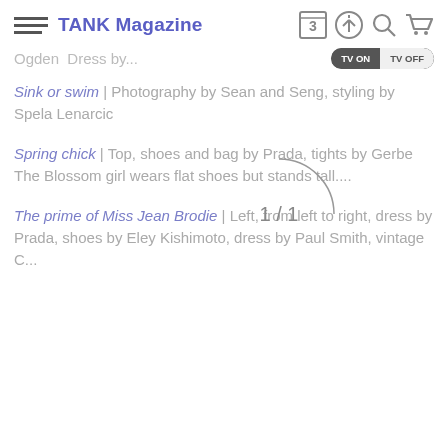TANK Magazine
Ogden  Dress by...
Sink or swim | Photography by Sean and Seng, styling by Spela Lenarcic
Spring chick | Top, shoes and bag by Prada, tights by Gerbe The Blossom girl wears flat shoes but stands tall....
The prime of Miss Jean Brodie | Left, from left to right, dress by Prada, shoes by Eley Kishimoto, dress by Paul Smith, vintage C...